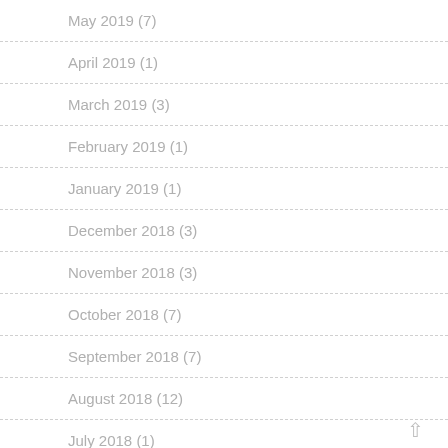May 2019 (7)
April 2019 (1)
March 2019 (3)
February 2019 (1)
January 2019 (1)
December 2018 (3)
November 2018 (3)
October 2018 (7)
September 2018 (7)
August 2018 (12)
July 2018 (1)
March 2018 (2)